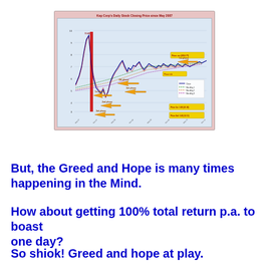[Figure (continuous-plot): A line chart showing Kep Corp's daily stock closing price since May 2007. Features a dramatic red vertical bar drop, multiple yellow arrow annotations marking phases, moving average lines in various colors, and price levels annotated. The chart shows a peak followed by sharp decline and subsequent recovery with volatility.]
But, the Greed and Hope is many times happening in the Mind.
How about getting 100% total return p.a. to boast one day?
So shiok! Greed and hope at play.